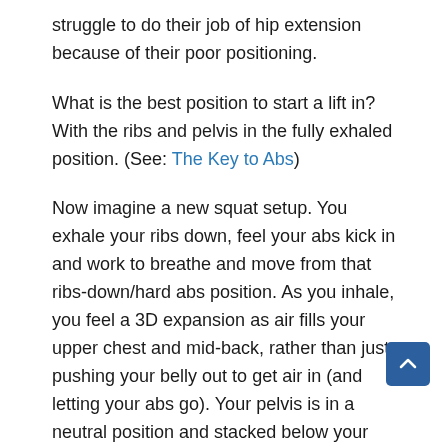struggle to do their job of hip extension because of their poor positioning.
What is the best position to start a lift in? With the ribs and pelvis in the fully exhaled position. (See: The Key to Abs)
Now imagine a new squat setup. You exhale your ribs down, feel your abs kick in and work to breathe and move from that ribs-down/hard abs position. As you inhale, you feel a 3D expansion as air fills your upper chest and mid-back, rather than just pushing your belly out to get air in (and letting your abs go). Your pelvis is in a neutral position and stacked below your ribs and your knees are slightly soft.
From here, with this neutral core-engaged position, you have room to ask for depth. Depth without